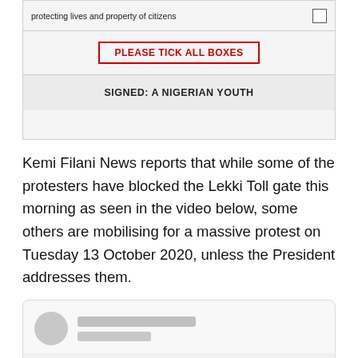[Figure (other): Partial view of a petition document showing a checkbox row with text 'protecting lives and property of citizens', a red-bordered box reading 'PLEASE TICK ALL BOXES', and a grey footer bar reading 'SIGNED: A NIGERIAN YOUTH']
Kemi Filani News reports that while some of the protesters have blocked the Lekki Toll gate this morning as seen in the video below, some others are mobilising for a massive protest on Tuesday 13 October 2020, unless the President addresses them.
[Figure (screenshot): A social media embed card with a blurred/placeholder avatar, two grey placeholder lines for the username, and a large blank content area with a partially visible emoji/face icon at the bottom center.]